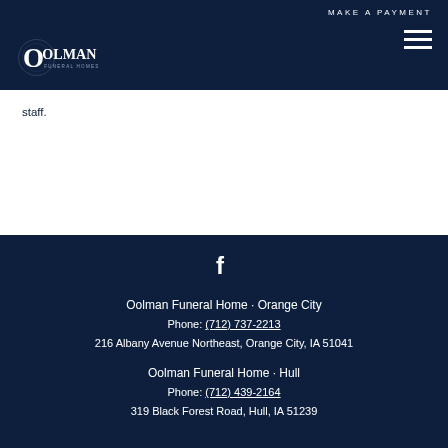MAKE A PAYMENT
[Figure (logo): Oolman Funeral Homes logo with decorative O and text]
staff.
Oolman Funeral Home - Orange City
Phone: (712) 737-2213
216 Albany Avenue Northeast, Orange City, IA 51041
Oolman Funeral Home - Hull
Phone: (712) 439-2164
319 Black Forest Road, Hull, IA 51239